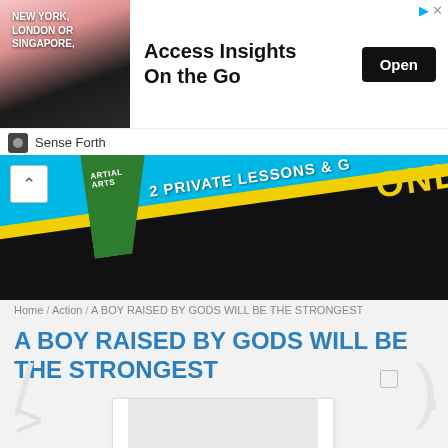[Figure (screenshot): Advertisement banner with man in suit photo, text 'NEW YORK, LONDON OR SINGAPORE,' and headline 'Access Insights On the Go' with Open button. Sponsored by Sense Forth.]
[Figure (photo): Martial arts advertisement strip showing blue banner with text '2 PRIVATE LESSONS & ...' and 'ONLY' in yellow text on dark background with green geometric element.]
Home / Action / A BOY RAISED BY GODS WILL BE THE STRONGEST
A BOY RAISED BY GODS WILL BE THE STRONGEST
[Figure (illustration): Book cover or manga cover image placeholder, partially visible, white/light grey rectangle]